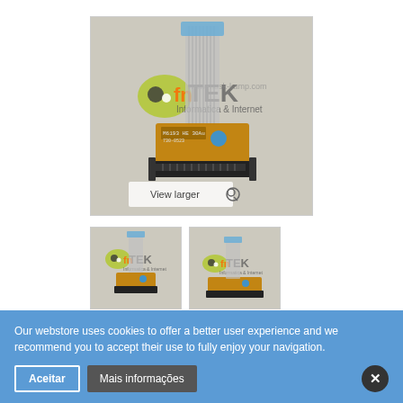[Figure (photo): Photo of a laptop optical drive connector board with ribbon cable, displayed on a product page of fnTEK Informatica & Internet webstore. Shows a small PCB with SATA/ODD connector and flat ribbon cable attached. Logo of fnTEK visible in background. 'View larger' overlay with magnifier icon at bottom of image.]
[Figure (photo): Thumbnail 1: small version of the same connector board photo with fnTEK logo visible.]
[Figure (photo): Thumbnail 2: alternate angle of the connector board with fnTEK logo visible.]
Our webstore uses cookies to offer a better user experience and we recommend you to accept their use to fully enjoy your navigation.
Aceitar
Mais informações